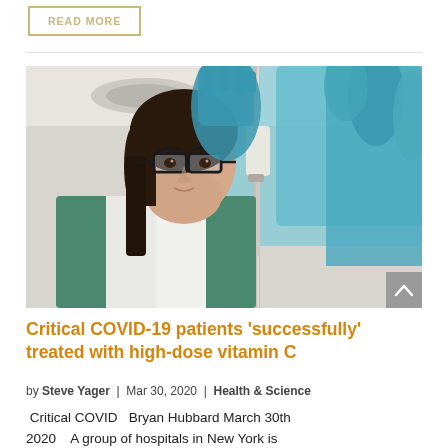[Figure (other): READ MORE button with gold/tan border and text]
[Figure (photo): Female healthcare worker or nurse wearing glasses and teal scrubs, wearing blue latex gloves, adjusting or examining an IV drip or medical equipment. Close-up shot with blurred background.]
Critical COVID-19 patients ‘successfully’ treated with high-dose vitamin C
by Steve Yager | Mar 30, 2020 | Health & Science
Critical COVID  Bryan Hubbard March 30th 2020   A group of hospitals in New York is